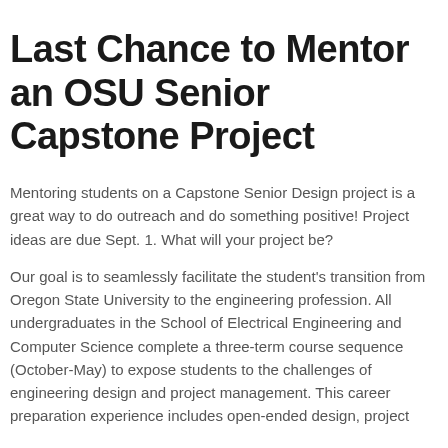Last Chance to Mentor an OSU Senior Capstone Project
Mentoring students on a Capstone Senior Design project is a great way to do outreach and do something positive! Project ideas are due Sept. 1. What will your project be?
Our goal is to seamlessly facilitate the student's transition from Oregon State University to the engineering profession. All undergraduates in the School of Electrical Engineering and Computer Science complete a three-term course sequence (October-May) to expose students to the challenges of engineering design and project management. This career preparation experience includes open-ended design, project